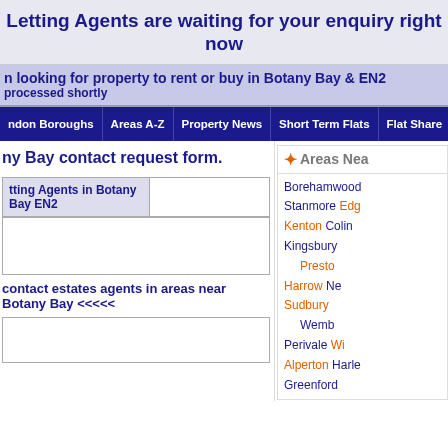Letting Agents are waiting for your enquiry right now
I am looking for property to rent or buy in Botany Bay & EN2
will be processed shortly
London Boroughs | Areas A-Z | Property News | Short Term Flats | Flat Share | Com...
ny Bay contact request form.
|  |  |
| --- | --- |
| Letting Agents in Botany Bay EN2 |  |
contact estates agents in areas near Botany Bay <<<<<
Areas Nea...
Borehamwood
Stanmore  Edg...
Kenton  Colin...
Kingsbury
Preston... Harrow  Ne...
Sudbury  Wemb...
Perivale  Wi...
Alperton  Harle...
Greenford
Price Guid...
| Weekly |
| --- |
| Studio |
| 1 Bed |
| 2 Bed |